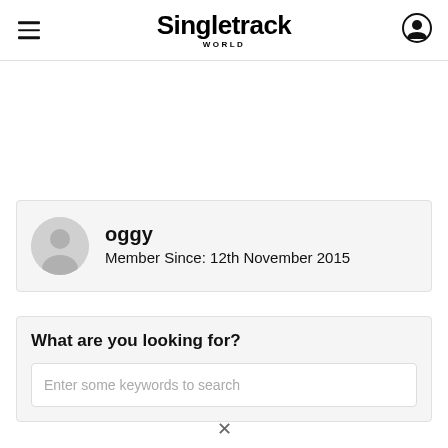Singletrack WORLD
[Figure (illustration): User profile card showing avatar icon, username 'oggy', and member since date]
oggy
Member Since: 12th November 2015
What are you looking for?
Enter some keywords to search